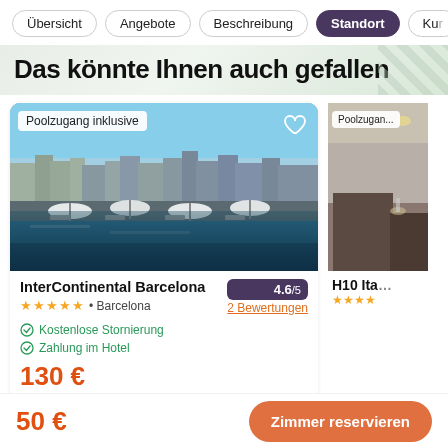Übersicht | Angebote | Beschreibung | Standort | Kur...
Das könnte Ihnen auch gefallen
[Figure (photo): Hotel rooftop pool with Barcelona cityscape panorama in background, lounge chairs visible]
Poolzugang inklusive
InterContinental Barcelona
4.6/5
★★★★★ • Barcelona
2 Bewertungen
Kostenlose Stornierung
Zahlung im Hotel
130 €
-57% | 300 € pro Nacht
[Figure (photo): Hotel room interior partial view, H10 Ita... hotel]
Poolzugan...
H10 Ita...
★★★★
50 €
Zimmer reservieren